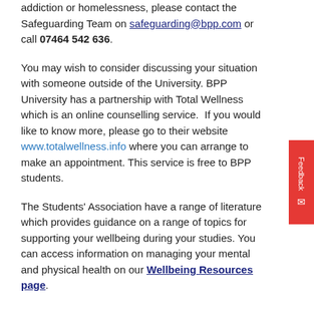addiction or homelessness, please contact the Safeguarding Team on safeguarding@bpp.com or call 07464 542 636.
You may wish to consider discussing your situation with someone outside of the University. BPP University has a partnership with Total Wellness which is an online counselling service. If you would like to know more, please go to their website www.totalwellness.info where you can arrange to make an appointment. This service is free to BPP students.
The Students' Association have a range of literature which provides guidance on a range of topics for supporting your wellbeing during your studies. You can access information on managing your mental and physical health on our Wellbeing Resources page.